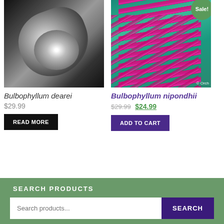[Figure (photo): Black and white close-up photo of a Bulbophyllum dearei orchid flower on dark background]
Bulbophyllum dearei
$29.99
READ MORE
[Figure (photo): Color close-up photo of Bulbophyllum nipondhii orchid with vivid pink/purple elongated petals on teal green background. Has a Sale! badge. Copyright © Orch watermark.]
Bulbophyllum nipondhii
$29.99 $24.99
ADD TO CART
SEARCH PRODUCTS
Search products... SEARCH